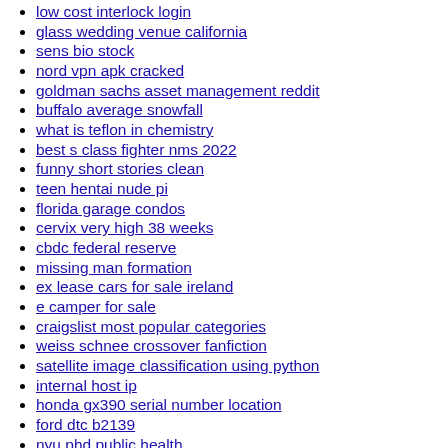low cost interlock login
glass wedding venue california
sens bio stock
nord vpn apk cracked
goldman sachs asset management reddit
buffalo average snowfall
what is teflon in chemistry
best s class fighter nms 2022
funny short stories clean
teen hentai nude pi
florida garage condos
cervix very high 38 weeks
cbdc federal reserve
missing man formation
ex lease cars for sale ireland
e camper for sale
craigslist most popular categories
weiss schnee crossover fanfiction
satellite image classification using python
internal host ip
honda gx390 serial number location
ford dtc b2139
nyu phd public health
hot air balloon festival schedule
ubiquiti wan load balancing